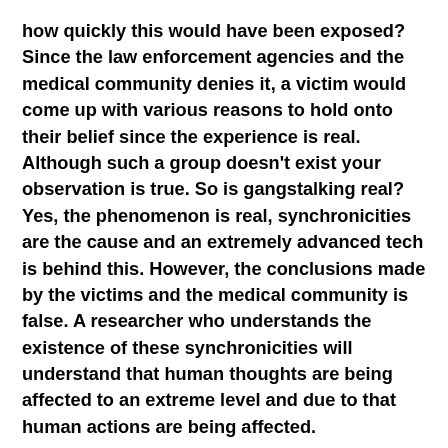how quickly this would have been exposed? Since the law enforcement agencies and the medical community denies it, a victim would come up with various reasons to hold onto their belief since the experience is real. Although such a group doesn't exist your observation is true. So is gangstalking real? Yes, the phenomenon is real, synchronicities are the cause and an extremely advanced tech is behind this. However, the conclusions made by the victims and the medical community is false. A researcher who understands the existence of these synchronicities will understand that human thoughts are being affected to an extreme level and due to that human actions are being affected.
The actual cause behind the gang stalking